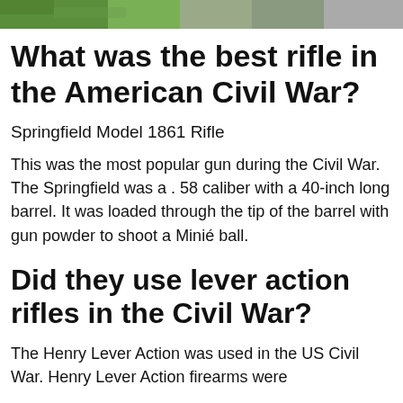[Figure (photo): Partial photo strip showing people outdoors, green and gray tones]
What was the best rifle in the American Civil War?
Springfield Model 1861 Rifle
This was the most popular gun during the Civil War. The Springfield was a . 58 caliber with a 40-inch long barrel. It was loaded through the tip of the barrel with gun powder to shoot a Minié ball.
Did they use lever action rifles in the Civil War?
The Henry Lever Action was used in the US Civil War. Henry Lever Action firearms were used in the US until the Winchester Model...